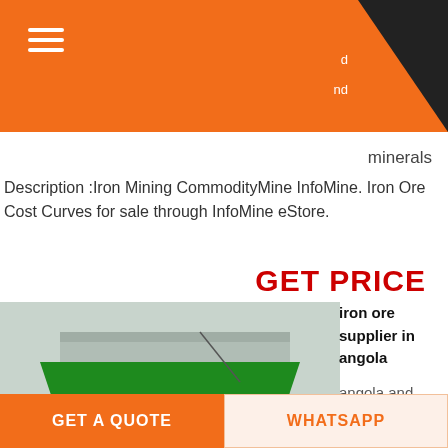minerals d nd
minerals
Description :Iron Mining CommodityMine InfoMine. Iron Ore Cost Curves for sale through InfoMine eStore.
GET PRICE
[Figure (photo): Large green mobile mining/crushing machine on tracks, parked in an industrial yard with a building and trees in the background.]
iron ore supplier in angola
angola and
iron ore and
minerals
crushergoogle. We are loading manufacturer supplier. Angola is
GET A QUOTE
WHATSAPP